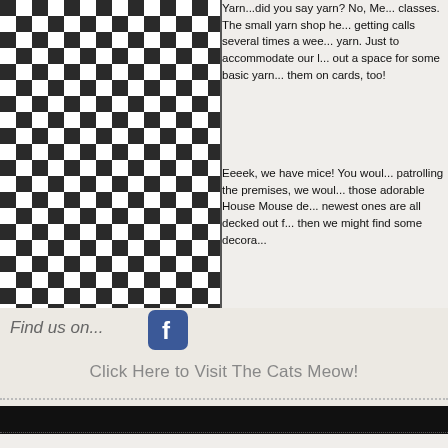[Figure (illustration): Black and white checkerboard pattern filling the left side of the upper portion of the page]
Yarn...did you say yarn? No, Me... classes. The small yarn shop he... getting calls several times a wee... yarn. Just to accommodate our l... out a space for some basic yarn... them on cards, too!
Eeeek, we have mice! You woul... patrolling the premises, we woul... those adorable House Mouse de... newest ones are all decked out f... then we might find some decora...
Find us on...
[Figure (logo): Facebook 'f' logo icon in blue rounded square]
Click Here to Visit The Cats Meow!